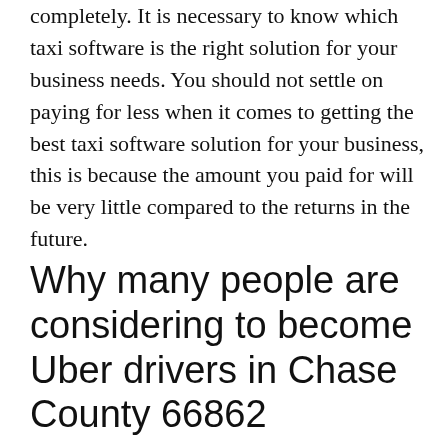completely. It is necessary to know which taxi software is the right solution for your business needs. You should not settle on paying for less when it comes to getting the best taxi software solution for your business, this is because the amount you paid for will be very little compared to the returns in the future.
Why many people are considering to become Uber drivers in Chase County 66862